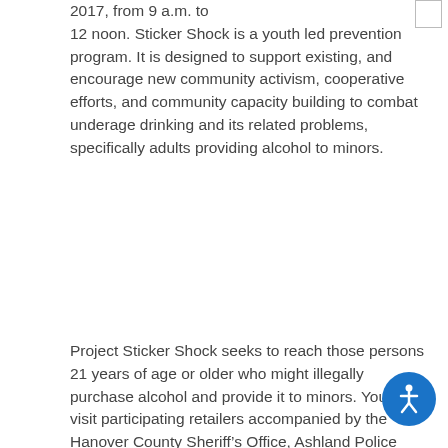2017, from 9 a.m. to 12 noon. Sticker Shock is a youth led prevention program. It is designed to support existing, and encourage new community activism, cooperative efforts, and community capacity building to combat underage drinking and its related problems, specifically adults providing alcohol to minors.
Project Sticker Shock seeks to reach those persons 21 years of age or older who might illegally purchase alcohol and provide it to minors. Youth will visit participating retailers accompanied by the Hanover County Sheriff's Office, Ashland Police Department, and members from Hanover County Community Services. They will place prevention stickers on multi-packs of beer, wine coolers, and other alcohol products that might appeal to underage drinkers. The stickers display a warning message about the penalties for purchasing or providing alcohol to minors.
The project represents a partnership between youth, licensed establishments, concerned parents and community members, prevention professionals, and law enforcement with the goal of educating persons 21 and older of the